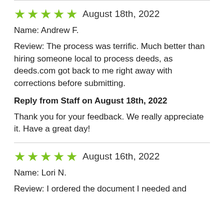★★★★★ August 18th, 2022
Name: Andrew F.
Review: The process was terrific. Much better than hiring someone local to process deeds, as deeds.com got back to me right away with corrections before submitting.
Reply from Staff on August 18th, 2022
Thank you for your feedback. We really appreciate it. Have a great day!
★★★★★ August 16th, 2022
Name: Lori N.
Review: I ordered the document I needed and